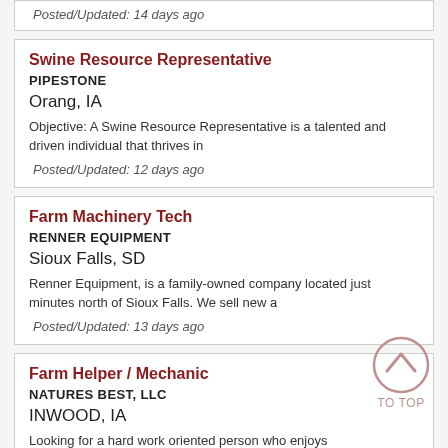Posted/Updated: 14 days ago
Swine Resource Representative
PIPESTONE
Orang, IA
Objective: A Swine Resource Representative is a talented and driven individual that thrives in
Posted/Updated: 12 days ago
Farm Machinery Tech
RENNER EQUIPMENT
Sioux Falls, SD
Renner Equipment, is a family-owned company located just minutes north of Sioux Falls. We sell new a
Posted/Updated: 13 days ago
Farm Helper / Mechanic
NATURES BEST, LLC
INWOOD, IA
Looking for a hard work oriented person who enjoys working with cattle, feedlot, general farming pra